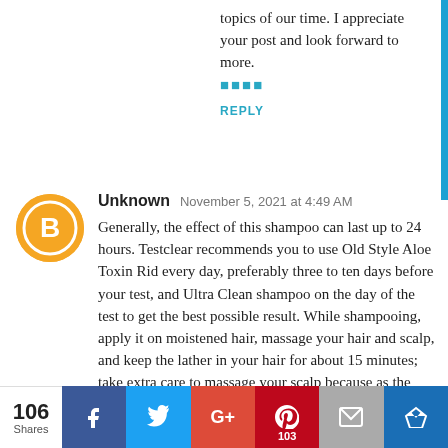topics of our time. I appreciate your post and look forward to more.
🔵🔵🔵🔵
REPLY
Unknown  November 5, 2021 at 4:49 AM
Generally, the effect of this shampoo can last up to 24 hours. Testclear recommends you to use Old Style Aloe Toxin Rid every day, preferably three to ten days before your test, and Ultra Clean shampoo on the day of the test to get the best possible result. While shampooing, apply it on moistened hair, massage your hair and scalp, and keep the lather in your hair for about 15 minutes; take extra care to massage your scalp because as the skin there may harbor traces of THC. Rinse your hair with lukewarm water. Be sure to wash your hair at least 15 times before the test for the best results. The deep clean formula of the shampoo successfully and delicately removes all
106 Shares